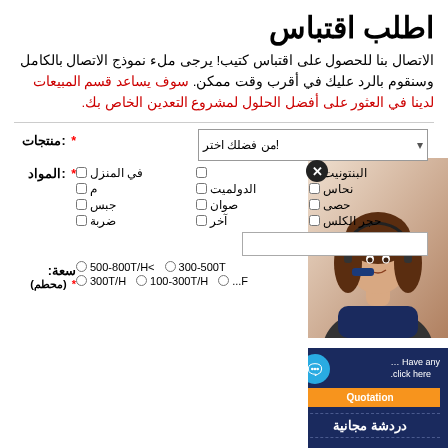اطلب اقتباس
الاتصال بنا للحصول على اقتباس كتيب! يرجى ملء نموذج الاتصال بالكامل وسنقوم بالرد عليك في أقرب وقت ممكن. سوف يساعد قسم المبيعات لدينا في العثور على أفضل الحلول لمشروع التعدين الخاص بك.
[Figure (photo): Customer service representative (woman with headset) photo on the right side]
منتجات * - dropdown: من فضلك اختر!
المواد * - checkboxes: البنتونيت, في المنزل, نحاس, الدولميت, حصى, جبس, صوان, ضربة, حجر الكلس, آخر
سعة: (محطم) * - radio buttons: >500-800T/H, 300-500T, 300T/H, 100-300T/H, F...